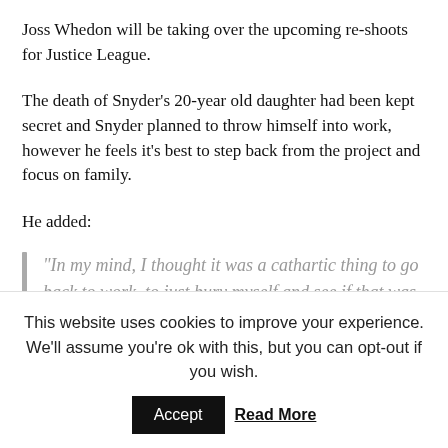Joss Whedon will be taking over the upcoming re-shoots for Justice League.
The death of Snyder's 20-year old daughter had been kept secret and Snyder planned to throw himself into work, however he feels it's best to step back from the project and focus on family.
He added:
“In my mind, I thought it was a cathartic thing to go back to work, to just bury myself and see if that was way through it. The demands
This website uses cookies to improve your experience. We'll assume you're ok with this, but you can opt-out if you wish. Accept Read More